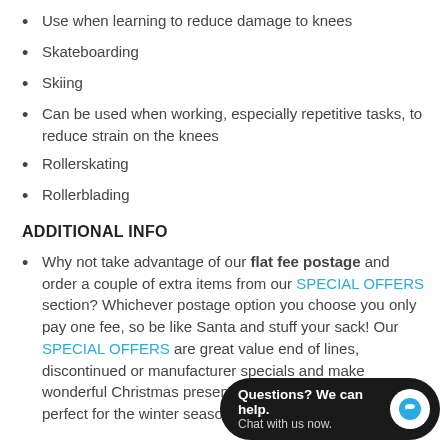Use when learning to reduce damage to knees
Skateboarding
Skiing
Can be used when working, especially repetitive tasks, to reduce strain on the knees
Rollerskating
Rollerblading
ADDITIONAL INFO
Why not take advantage of our flat fee postage and order a couple of extra items from our SPECIAL OFFERS section? Whichever postage option you choose you only pay one fee, so be like Santa and stuff your sack! Our SPECIAL OFFERS are great value end of lines, discontinued or manufacturer specials and make wonderful Christmas presents. Practical, stylish, useful, perfect for the winter season.